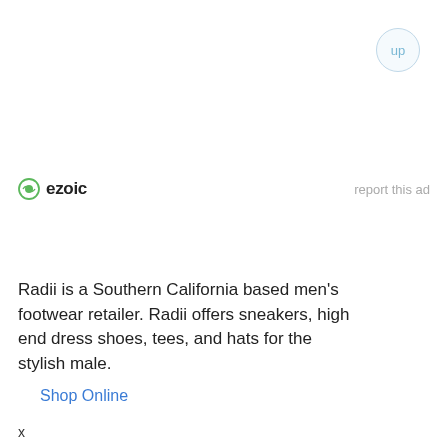[Figure (logo): Ezoic logo with green circular icon and bold 'ezoic' text, alongside 'report this ad' link]
Radii is a Southern California based men's footwear retailer. Radii offers sneakers, high end dress shoes, tees, and hats for the stylish male.
Shop Online
x